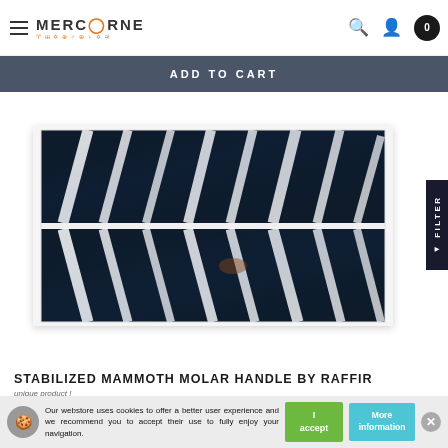MERCORNE — navigation bar with hamburger menu, logo, search, user, and cart icons
ADD TO CART
[Figure (photo): Stabilized mammoth molar handle scales by Raffir — dark blue/black material with distinctive white angled stripe pattern, shown as matched pair of rectangular handle scales.]
STABILIZED MAMMOTH MOLAR HANDLE BY RAFFIR
unique product !
Our webstore uses cookies to offer a better user experience and we recommend you to accept their use to fully enjoy your navigation.